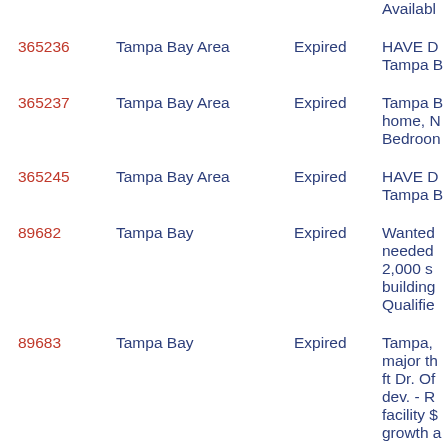| ID | Area | Status | Description |
| --- | --- | --- | --- |
|  |  |  | Availabl |
| 365236 | Tampa Bay Area | Expired | HAVE D
Tampa B |
| 365237 | Tampa Bay Area | Expired | Tampa B
home, N
Bedroon |
| 365245 | Tampa Bay Area | Expired | HAVE D
Tampa B |
| 89682 | Tampa Bay | Expired | Wanted
needed
2,000 s
building
Qualifie |
| 89683 | Tampa Bay | Expired | Tampa,
major th
ft Dr. Of
dev. - R
facility $
growth a |
| 128220 | Tampa area | Inactive | Wanted
County
Florida
residenti
300- |